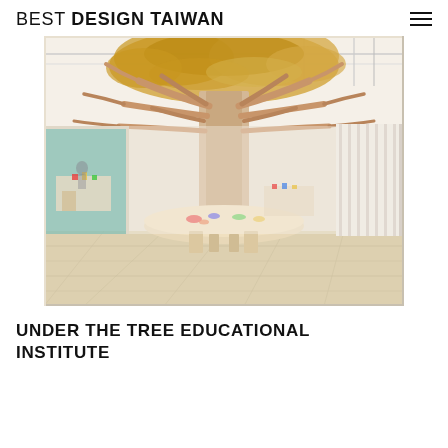BEST DESIGN TAIWAN
[Figure (photo): Interior of the Under The Tree Educational Institute showing a large sculptural tree structure with wooden branch-like forms spreading across the ceiling, a cylindrical wooden column in the center, and a circular table with colorful educational materials. The space has light wood flooring and white vertical panel dividers on the right side.]
UNDER THE TREE EDUCATIONAL INSTITUTE